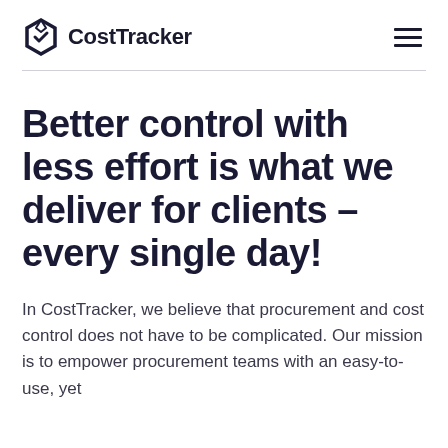CostTracker
Better control with less effort is what we deliver for clients – every single day!
In CostTracker, we believe that procurement and cost control does not have to be complicated. Our mission is to empower procurement teams with an easy-to-use, yet